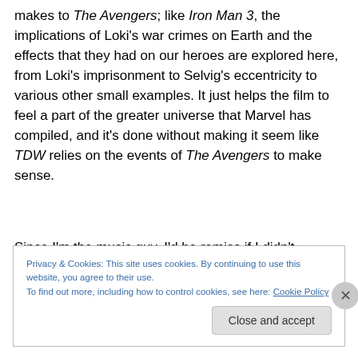makes to The Avengers; like Iron Man 3, the implications of Loki's war crimes on Earth and the effects that they had on our heroes are explored here, from Loki's imprisonment to Selvig's eccentricity to various other small examples. It just helps the film to feel a part of the greater universe that Marvel has compiled, and it's done without making it seem like TDW relies on the events of The Avengers to make sense.
Since I'm the music guy, I'd be remiss if I didn't mention Brian Tyler's score for the film. I'd be lying if I said I wasn't
Privacy & Cookies: This site uses cookies. By continuing to use this website, you agree to their use.
To find out more, including how to control cookies, see here: Cookie Policy